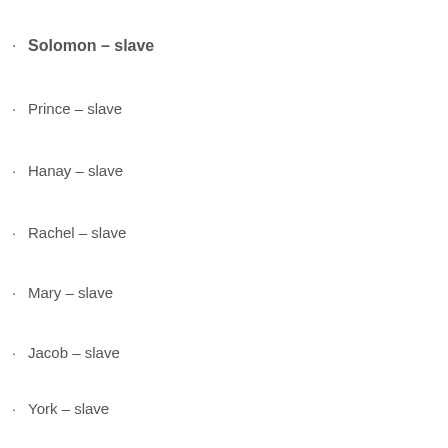Solomon – slave
Prince – slave
Hanay – slave
Rachel – slave
Mary – slave
Jacob – slave
York – slave
Fortune – slave
Doll – slave